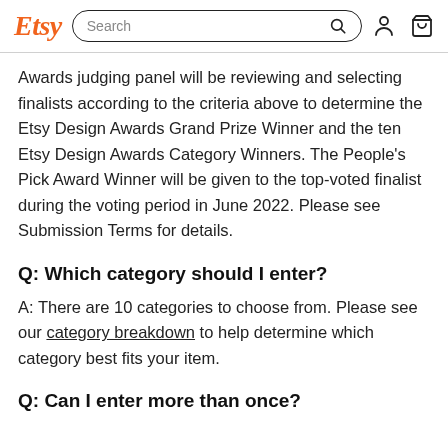Etsy | Search
Awards judging panel will be reviewing and selecting finalists according to the criteria above to determine the Etsy Design Awards Grand Prize Winner and the ten Etsy Design Awards Category Winners. The People's Pick Award Winner will be given to the top-voted finalist during the voting period in June 2022. Please see Submission Terms for details.
Q: Which category should I enter?
A: There are 10 categories to choose from. Please see our category breakdown to help determine which category best fits your item.
Q: Can I enter more than once?